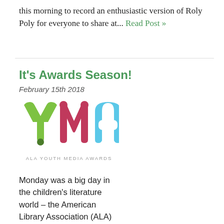this morning to record an enthusiastic version of Roly Poly for everyone to share at... Read Post »
It's Awards Season!
February 15th 2018
[Figure (logo): ALA Youth Media Awards logo with colorful Y, M, A letters in green, red/pink, and light blue, with text 'ALA YOUTH MEDIA AWARDS' below]
Monday was a big day in the children's literature world -- the American Library Association (ALA) Youth Media Awards were announced!  The annual awards include not only the big two -- Caldecott and Newbery -- but a number of other awards recognizing a broad spectrum of children's and